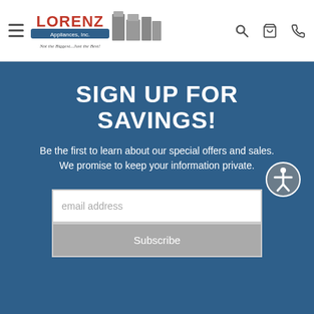[Figure (logo): Lorenz Appliances Inc. logo with text 'Not the Biggest...Just the Best!' and images of appliances]
SIGN UP FOR SAVINGS!
Be the first to learn about our special offers and sales. We promise to keep your information private.
email address
Subscribe